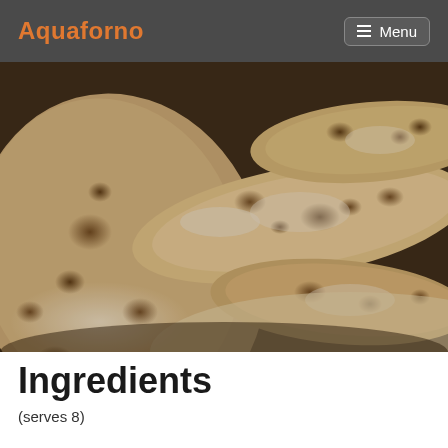Aquaforno   ≡ Menu
[Figure (photo): Close-up photo of multiple flatbreads (pita-style) with brown baked spots, dusted with flour, stacked on top of each other.]
Ingredients
(serves 8)